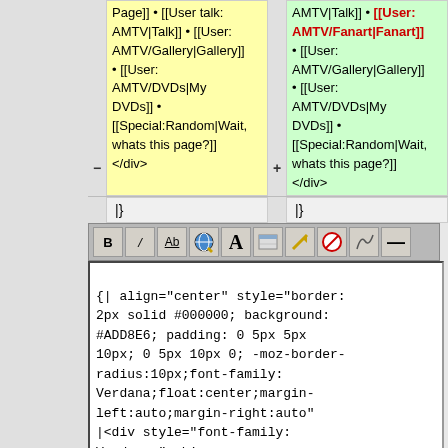Page]] • [[User talk: AMTV|Talk]] • [[User: AMTV/Gallery|Gallery]] • [[User: AMTV/DVDs|My DVDs]] • [[Special:Random|Wait, whats this page?]] </div>
AMTV|Talk]] • [[User: AMTV/Fanart|Fanart]] • [[User: AMTV/Gallery|Gallery]] • [[User: AMTV/DVDs|My DVDs]] • [[Special:Random|Wait, whats this page?]] </div>
|}
|}
[Figure (screenshot): Wiki editor toolbar with Bold, Italic, Ab, globe, large A, image, arrow, no symbol, signature, and horizontal rule buttons]
{| align="center" style="border: 2px solid #000000; background: #ADD8E6; padding: 0 5px 5px 10px; 0 5px 10px 0; -moz-border-radius:10px;font-family: Verdana;float:center;margin-left:auto;margin-right:auto" |<div style="font-family: Verdana;"><big> '''Navigation:'''</big> [[User: AMTV|Home Page]] • [[User talk: AMTV|Talk]] • [[User: AMTV/Fanart|Fanart]] • [[User: AMTV/Gallery|Gallery]] •